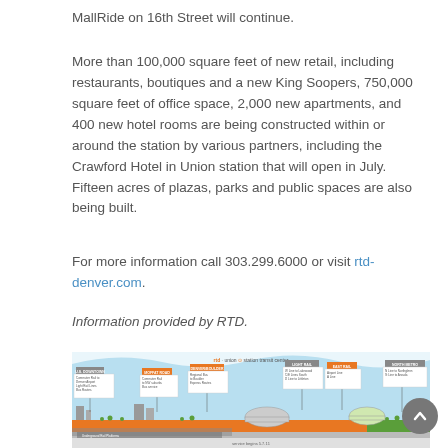MallRide on 16th Street will continue.
More than 100,000 square feet of new retail, including restaurants, boutiques and a new King Soopers, 750,000 square feet of office space, 2,000 new apartments, and 400 new hotel rooms are being constructed within or around the station by various partners, including the Crawford Hotel in Union station that will open in July. Fifteen acres of plazas, parks and public spaces are also being built.
For more information call 303.299.6000 or visit rtd-denver.com.
Information provided by RTD.
[Figure (infographic): RTD Union Station Transit Center infographic showing a cross-section/map of the transit center with labeled sections for various transit modes (commuter rail, light rail, bus, etc.), building silhouettes including a dome, orange ground level, and color-coded info boxes.]